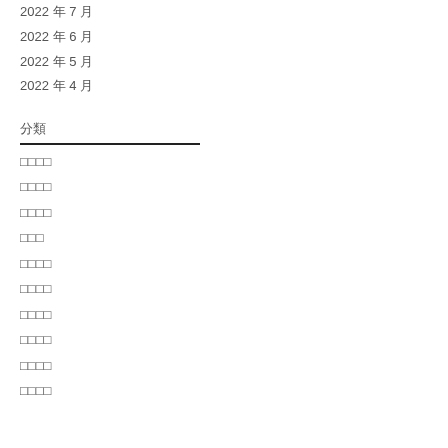2022 年 7 月
2022 年 6 月
2022 年 5 月
2022 年 4 月
分類
□□□□
□□□□
□□□□
□□□
□□□□
□□□□
□□□□
□□□□
□□□□
□□□□